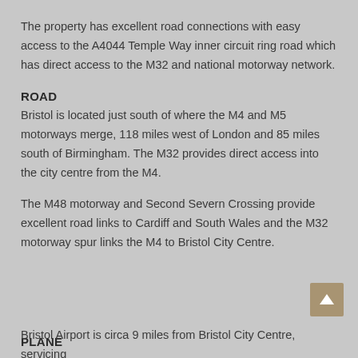The property has excellent road connections with easy access to the A4044 Temple Way inner circuit ring road which has direct access to the M32 and national motorway network.
ROAD
Bristol is located just south of where the M4 and M5 motorways merge, 118 miles west of London and 85 miles south of Birmingham. The M32 provides direct access into the city centre from the M4.
The M48 motorway and Second Severn Crossing provide excellent road links to Cardiff and South Wales and the M32 motorway spur links the M4 to Bristol City Centre.
PLANE
Bristol Airport is circa 9 miles from Bristol City Centre, servicing